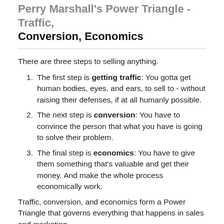Perry Marshall's Power Triangle - Traffic, Conversion, Economics
There are three steps to selling anything.
The first step is getting traffic: You gotta get human bodies, eyes, and ears, to sell to - without raising their defenses, if at all humanly possible.
The next step is conversion: You have to convince the person that what you have is going to solve their problem.
The final step is economics: You have to give them something that's valuable and get their money. And make the whole process economically work.
Traffic, conversion, and economics form a Power Triangle that governs everything that happens in sales and marketing.
You should always be suspicious of complicated things